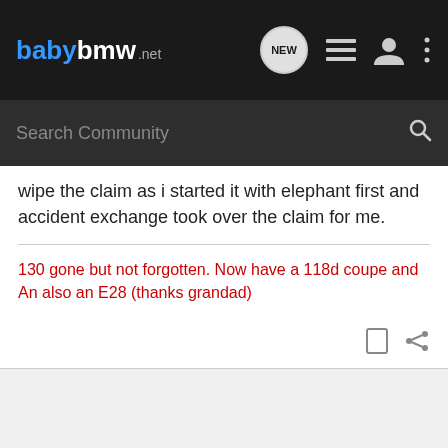babybmw.net — navigation bar with NEW, list, user, and more icons
Search Community
wipe the claim as i started it with elephant first and accident exchange took over the claim for me.
130 gone but not forgotten. Now have a 118d coupe and An also an E28 (thanks grandad)